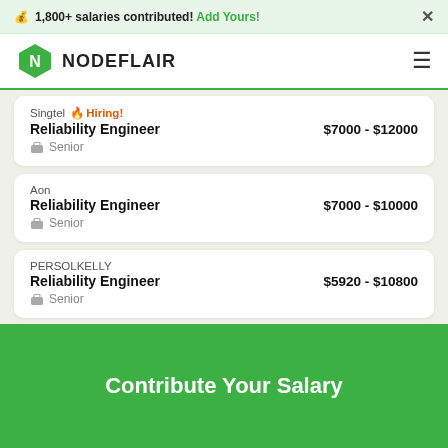💰 1,800+ salaries contributed! Add Yours! ×
[Figure (logo): NodeFlair logo - green hexagon with N inside, followed by NODEFLAIR text in bold capitals]
Singtel 🔥 Hiring! | Reliability Engineer | $7000 - $12000 | Senior
Aon | Reliability Engineer | $7000 - $10000 | Senior
PERSOLKELLY | Reliability Engineer | $5920 - $10800 | Senior
Contribute Your Salary